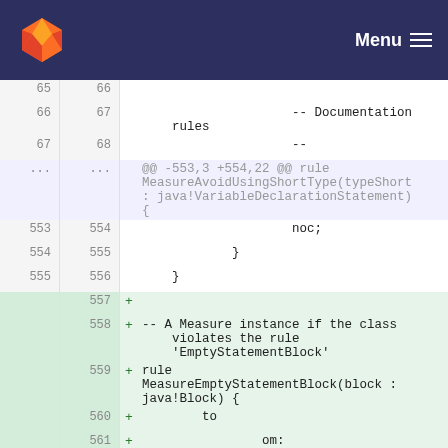[Figure (screenshot): GitLab navigation bar with fox logo and Menu button on dark navy background]
Code diff view showing lines 65-561 of a file with context lines, hunk headers, and added lines. Context lines show documentation rules and noc;, }, } code. Added lines show: -- A Measure instance if the class violates the rule 'EmptyStatementBlock' rule MeasureEmptyStatementBlock(block : java!Block) { to om: